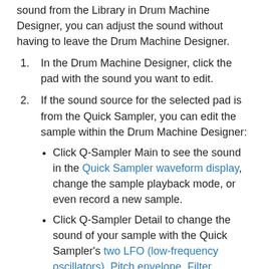sound from the Library in Drum Machine Designer, you can adjust the sound without having to leave the Drum Machine Designer.
1. In the Drum Machine Designer, click the pad with the sound you want to edit.
2. If the sound source for the selected pad is from the Quick Sampler, you can edit the sample within the Drum Machine Designer:
Click Q-Sampler Main to see the sound in the Quick Sampler waveform display, change the sample playback mode, or even record a new sample.
Click Q-Sampler Detail to change the sound of your sample with the Quick Sampler's two LFO (low-frequency oscillators), Pitch envelope, Filter envelope, and Amplitude envelope.